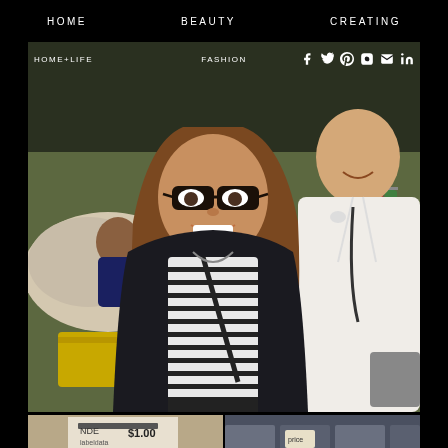HOME   BEAUTY   CREATING
[Figure (photo): Two women smiling at a clothing sale or thrift event. The woman in front wears glasses, a striped shirt, and a dark cardigan. The woman beside her wears a white jacket. Background shows racks of clothes and people browsing. An overlay navigation bar reads HOME+LIFE, FASHION, with social media icons (Facebook, Twitter, Pinterest, Instagram, Email, LinkedIn).]
[Figure (photo): Bottom-left partial photo: appears to show price tags or signs at a sale, with text including '$1.00' and 'BUENO', and a child's face.]
[Figure (photo): Bottom-right partial photo: shows clothing or items at a sale/market, darker tones, with a back-to-top arrow overlay.]